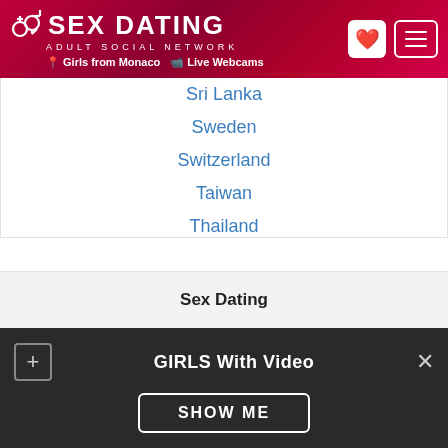SEX DATING - ADULT SOCIAL NETWORK | Girls from Monaco | Live Webcams
Sri Lanka
Sweden
Switzerland
Taiwan
Thailand
Turkey
United Arab Emirates
Uruguay
USA
Vietnam
Sex Dating
GIRLS With Video
SHOW ME